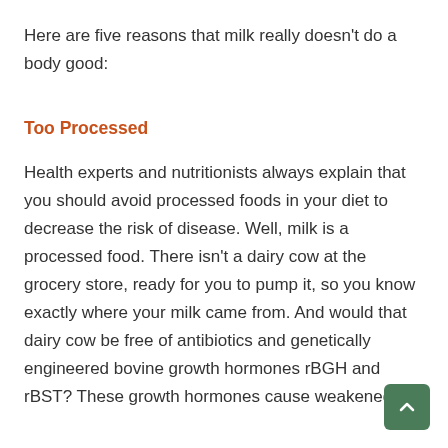Here are five reasons that milk really doesn't do a body good:
Too Processed
Health experts and nutritionists always explain that you should avoid processed foods in your diet to decrease the risk of disease. Well, milk is a processed food. There isn't a dairy cow at the grocery store, ready for you to pump it, so you know exactly where your milk came from. And would that dairy cow be free of antibiotics and genetically engineered bovine growth hormones rBGH and rBST? These growth hormones cause weakened